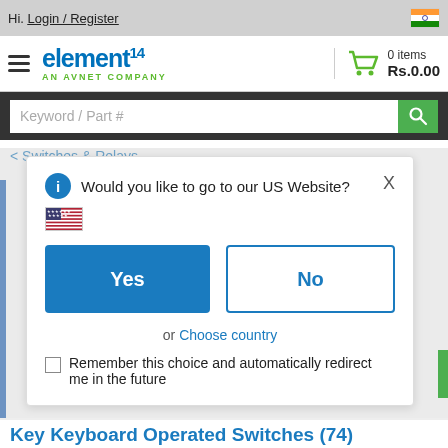Hi. Login / Register
[Figure (logo): element14 AN AVNET COMPANY logo with hamburger menu icon]
0 items Rs.0.00
Keyword / Part #
< Switches & Relays
Would you like to go to our US Website?
Yes
No
or Choose country
Remember this choice and automatically redirect me in the future
Key Keyboard Operated Switches (74)